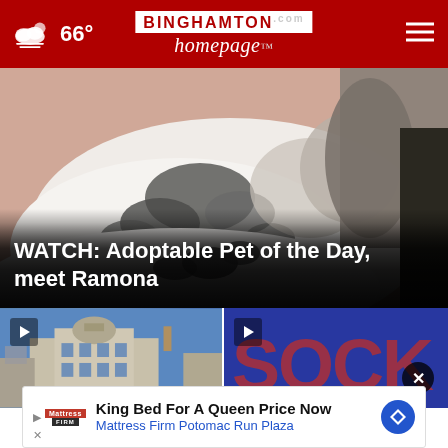66° — Binghamton Homepage
[Figure (screenshot): Main video thumbnail showing a black and white cat with overlay text: WATCH: Adoptable Pet of the Day, meet Ramona]
WATCH: Adoptable Pet of the Day, meet Ramona
[Figure (screenshot): Video thumbnail of a government building (Albany Capitol)]
[Figure (screenshot): Video thumbnail showing text SOCK O in large red letters on blue background]
King Bed For A Queen Price Now Mattress Firm Potomac Run Plaza